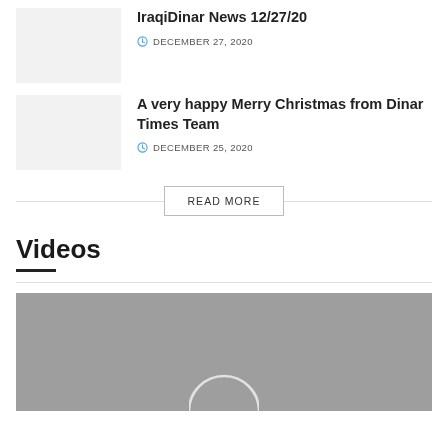[Figure (photo): Thumbnail placeholder for IraqiDinar News article]
IraqiDinar News 12/27/20
DECEMBER 27, 2020
[Figure (photo): Thumbnail placeholder for Merry Christmas article]
A very happy Merry Christmas from Dinar Times Team
DECEMBER 25, 2020
READ MORE
Videos
[Figure (photo): Video thumbnail placeholder with play button arc at bottom]